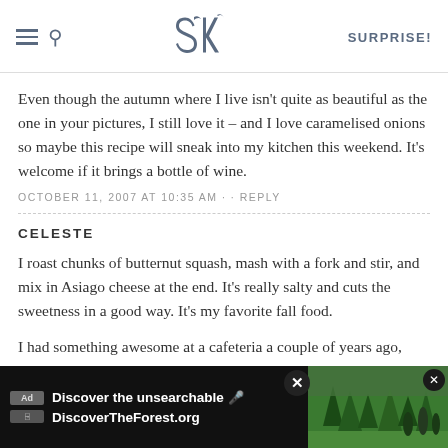SK — SURPRISE!
Even though the autumn where I live isn't quite as beautiful as the one in your pictures, I still love it – and I love caramelised onions so maybe this recipe will sneak into my kitchen this weekend. It's welcome if it brings a bottle of wine.
OCTOBER 11, 2007 AT 10:35 AM · · REPLY
CELESTE
I roast chunks of butternut squash, mash with a fork and stir, and mix in Asiago cheese at the end. It's really salty and cuts the sweetness in a good way. It's my favorite fall food.
I had something awesome at a cafeteria a couple of years ago, though; diced sweet potatoes roasted with a little olive oil and jerk seasoning. I will never forget how good the mix of sweet-hot was!
OCTOBER
[Figure (screenshot): Advertisement overlay for DiscoverTheForest.org showing 'Discover the unsearchable' with forest background photo and close button]